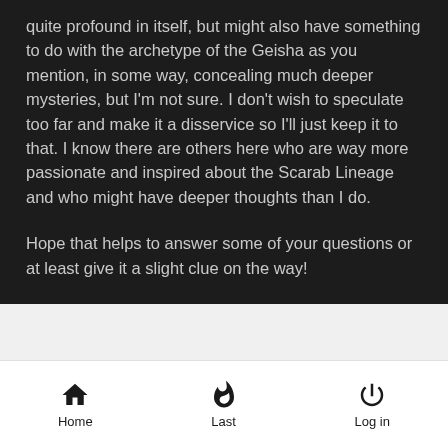quite profound in itself, but might also have something to do with the archetype of the Geisha as you mention, in some way, concealing much deeper mysteries, but I'm not sure. I don't wish to speculate too far and make it a disservice so I'll just keep it to that. I know there are others here who are way more passionate and inspired about the Scarab Lineage and who might have deeper thoughts than I do.

Hope that helps to answer some of your questions or at least give it a slight clue on the way!
by Sponsored content
Home  Last  Log in